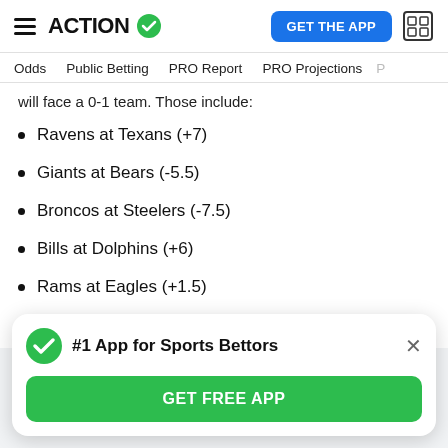ACTION [logo with checkmark] | GET THE APP
Odds  Public Betting  PRO Report  PRO Projections  P
will face a 0-1 team. Those include:
Ravens at Texans (+7)
Giants at Bears (-5.5)
Broncos at Steelers (-7.5)
Bills at Dolphins (+6)
Rams at Eagles (+1.5)
Lions at Packers (-6)
#1 App for Sports Bettors
GET FREE APP